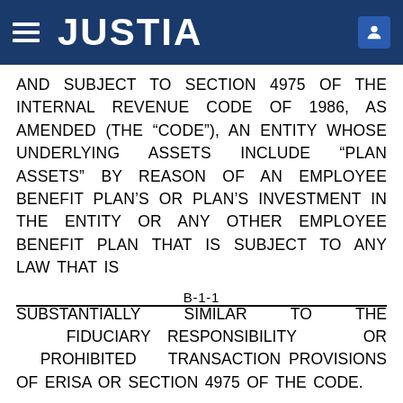JUSTIA
AND SUBJECT TO SECTION 4975 OF THE INTERNAL REVENUE CODE OF 1986, AS AMENDED (THE “CODE”), AN ENTITY WHOSE UNDERLYING ASSETS INCLUDE “PLAN ASSETS” BY REASON OF AN EMPLOYEE BENEFIT PLAN’S OR PLAN’S INVESTMENT IN THE ENTITY OR ANY OTHER EMPLOYEE BENEFIT PLAN THAT IS SUBJECT TO ANY LAW THAT IS
B-1-1
SUBSTANTIALLY SIMILAR TO THE FIDUCIARY RESPONSIBILITY OR PROHIBITED TRANSACTION PROVISIONS OF ERISA OR SECTION 4975 OF THE CODE.